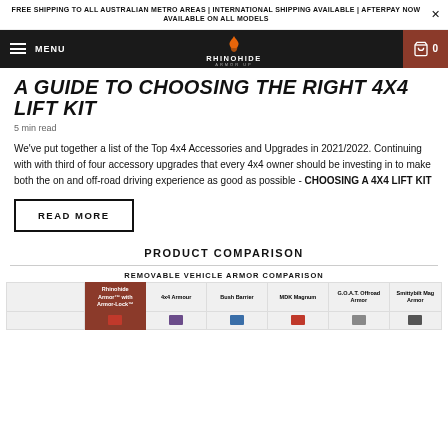FREE SHIPPING TO ALL AUSTRALIAN METRO AREAS | INTERNATIONAL SHIPPING AVAILABLE | AFTERPAY NOW AVAILABLE ON ALL MODELS
[Figure (logo): Rhinohide Armor Up logo with flame icon on dark navigation bar]
A GUIDE TO CHOOSING THE RIGHT 4X4 LIFT KIT
5 min read
We've put together a list of the Top 4x4 Accessories and Upgrades in 2021/2022. Continuing with with third of four accessory upgrades that every 4x4 owner should be investing in to make both the on and off-road driving experience as good as possible - CHOOSING A 4X4 LIFT KIT
READ MORE
PRODUCT COMPARISON
REMOVABLE VEHICLE ARMOR COMPARISON
|  | Rhinohide Armor™ with Armor-Lock™ | 4x4 Armour | Bush Barrier | MDK Magnum | G.O.A.T. Offroad Armor | Smittybilt Mag Armor |
| --- | --- | --- | --- | --- | --- | --- |
|  |  |  |  |  |  |  |